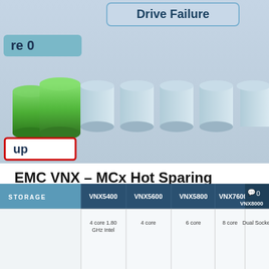[Figure (illustration): Partial illustration showing a 'Drive Failure' diagram with green drives on the left (labeled 'up' with a red border box) and blue cylinder drives arranged in a row. A teal rounded box shows 're 0' (partial text of a label). Background is light blue gradient.]
EMC VNX – MCx Hot Sparing Considerations
POSTED ON MAY 5, 2014
[Figure (table-as-image): Partial table image showing STORAGE header row with columns VNX5400, VNX5600, VNX5800, VNX7600, VNX8000, and a partial data row showing processor specs (4 core 1.80 GHz Intel, 4 core, 6 core, 8 core, Dual Socket). A comment icon with '0' appears in top right.]